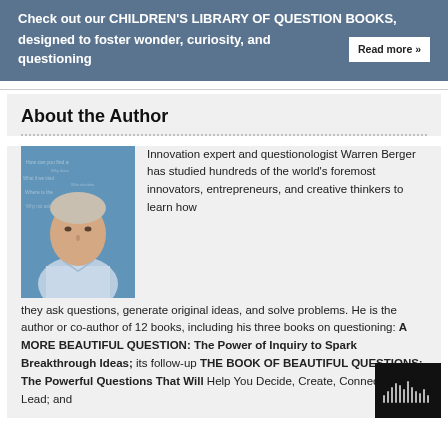Check out our CHILDREN'S LIBRARY OF QUESTION BOOKS, designed to foster wonder, curiosity, and questioning  Read more »
About the Author
[Figure (photo): Author Warren Berger headshot photo — man in light blue shirt against a blue word-cloud background, hand near chin.]
Innovation expert and questionologist Warren Berger has studied hundreds of the world's foremost innovators, entrepreneurs, and creative thinkers to learn how they ask questions, generate original ideas, and solve problems. He is the author or co-author of 12 books, including his three books on questioning: A MORE BEAUTIFUL QUESTION: The Power of Inquiry to Spark Breakthrough Ideas; its follow-up THE BOOK OF BEAUTIFUL QUESTIONS: The Powerful Questions That Will Help You Decide, Create, Connect, and Lead; and...